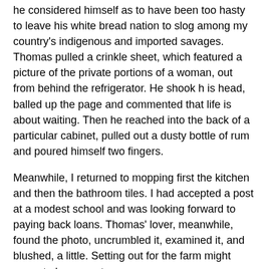he considered himself as to have been too hasty to leave his white bread nation to slog among my country's indigenous and imported savages. Thomas pulled a crinkle sheet, which featured a picture of the private portions of a woman, out from behind the refrigerator. He shook h is head, balled up the page and commented that life is about waiting. Then he reached into the back of a particular cabinet, pulled out a dusty bottle of rum and poured himself two fingers.
Meanwhile, I returned to mopping first the kitchen and then the bathroom tiles. I had accepted a post at a modest school and was looking forward to paying back loans. Thomas' lover, meanwhile, found the photo, uncrumbled it, examined it, and blushed, a little. Setting out for the farm might prove to be premature.
*
Kj Hannah Greenberg's a verbal vagrant, who gave up a